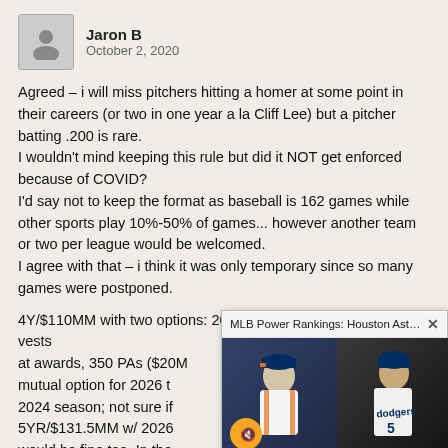Jaron B
October 2, 2020
Agreed – i will miss pitchers hitting a homer at some point in their careers (or two in one year a la Cliff Lee) but a pitcher batting .200 is rare.
I wouldn't mind keeping this rule but did it NOT get enforced because of COVID?
I'd say not to keep the format as baseball is 162 games while other sports play 10%-50% of games... however another team or two per league would be welcomed.
I agree with that – i think it was only temporary since so many games were postponed.
4Y/$110MM with two options: 2025 is $25MM 1st year that vests at awards, 350 PAs ($20M... mutual option for 2026 t... 2024 season; not sure if... 5YR/$131.5MM w/ 2026... would be fine too. In the...
[Figure (screenshot): Video popup overlay showing MLB Power Rankings with Houston Astros and Dodgers players, titled BEN VERLANDER'S MLB POWER RANKINGS]
My wish to add:
Modify catcher rule 7.07...
place the catcher's back...